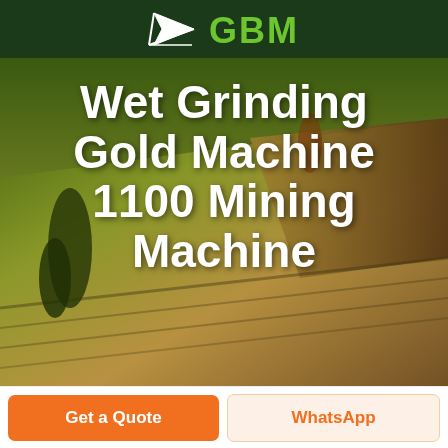[Figure (logo): GBM logo with arrow/pencil icon in white on dark green background and green GBM text]
[Figure (photo): Aerial view of agricultural fields with rolling landscape in warm golden and green tones. Large white bold text overlaid reading 'Wet Grinding Gold Machine 1100 Mining Machine']
Wet Grinding Gold Machine 1100 Mining Machine
Get a Quote
WhatsApp